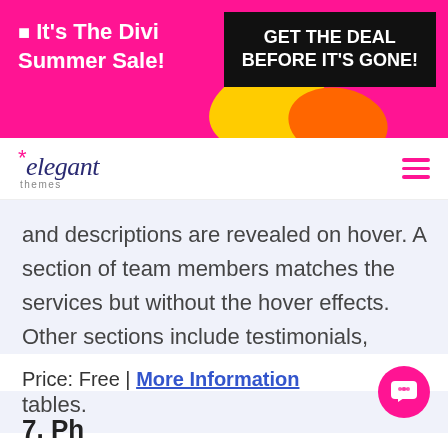[Figure (infographic): Pink promotional banner with text 'It's The Divi Summer Sale!' on the left and a black button 'GET THE DEAL BEFORE IT'S GONE!' on the right, with yellow and orange decorative shapes]
[Figure (logo): Elegant Themes logo: italic 'elegant' with pink asterisk and 'themes' in small text below, with pink hamburger menu icon on the right]
and descriptions are revealed on hover. A section of team members matches the services but without the hover effects. Other sections include testimonials, embedded video, and styled pricing tables.
Price: Free | More Information
7. Ph...